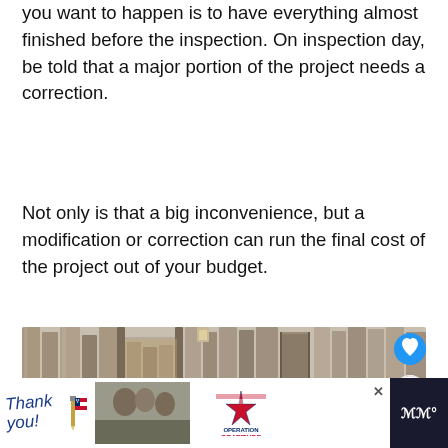you want to happen is to have everything almost finished before the inspection. On inspection day, be told that a major portion of the project needs a correction.
Not only is that a big inconvenience, but a modification or correction can run the final cost of the project out of your budget.
[Figure (photo): A wooden fence made of weathered planks with a gate opening, photographed outdoors. UI overlays include a heart/save button and a share button. A 'What's Next' card shows a link to 'Are Shower Heads...' article.]
[Figure (screenshot): Advertisement banner at bottom: 'Thank you!' handwritten text with a star-and-stripes pencil graphic, a photo of soldiers, Operation Gratitude logo, and a close button.]